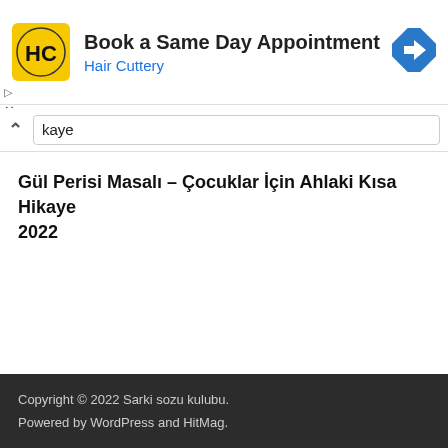[Figure (logo): Hair Cuttery advertisement banner with logo, 'Book a Same Day Appointment' text, and navigation icon]
kaye
Gül Perisi Masalı – Çocuklar İçin Ahlaki Kısa Hikaye 2022
Copyright © 2022 Sarki sozu kulubu.
Powered by WordPress and HitMag.